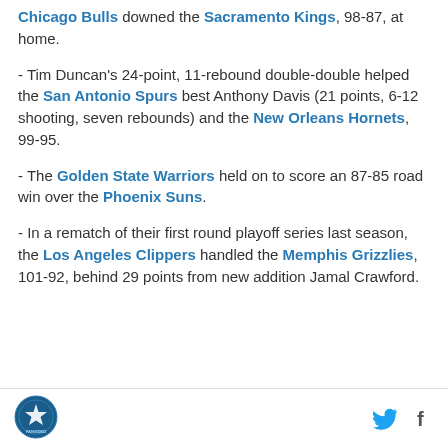Chicago Bulls downed the Sacramento Kings, 98-87, at home.
- Tim Duncan's 24-point, 11-rebound double-double helped the San Antonio Spurs best Anthony Davis (21 points, 6-12 shooting, seven rebounds) and the New Orleans Hornets, 99-95.
- The Golden State Warriors held on to score an 87-85 road win over the Phoenix Suns.
- In a rematch of their first round playoff series last season, the Los Angeles Clippers handled the Memphis Grizzlies, 101-92, behind 29 points from new addition Jamal Crawford.
[Figure (logo): Fansided circular logo with star emblem]